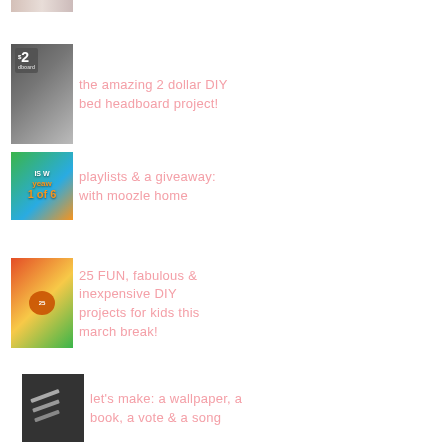[Figure (photo): Top cropped thumbnail image - colorful collage, partially visible]
the amazing 2 dollar DIY bed headboard project!
playlists & a giveaway: with moozle home
25 FUN, fabulous & inexpensive DIY projects for kids this march break!
let's make: a wallpaper, a book, a vote & a song